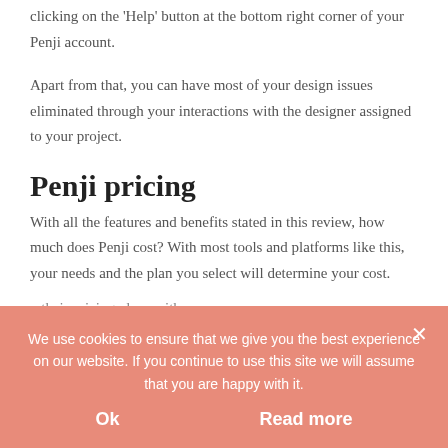clicking on the 'Help' button at the bottom right corner of your Penji account.
Apart from that, you can have most of your design issues eliminated through your interactions with the designer assigned to your project.
Penji pricing
With all the features and benefits stated in this review, how much does Penji cost? With most tools and platforms like this, your needs and the plan you select will determine your cost.
...their pricing plans with...
We use cookies to ensure that we give you the best experience on our website. If you continue to use this site we will assume that you are happy with it.
Ok
Read more